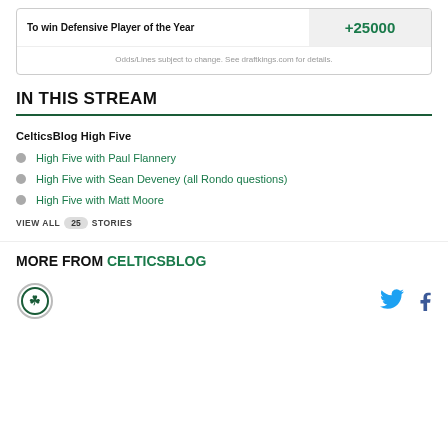| Category | Odds |
| --- | --- |
| To win Defensive Player of the Year | +25000 |
Odds/Lines subject to change. See draftkings.com for details.
IN THIS STREAM
CelticsBlog High Five
High Five with Paul Flannery
High Five with Sean Deveney (all Rondo questions)
High Five with Matt Moore
VIEW ALL 25 STORIES
MORE FROM CELTICSBLOG